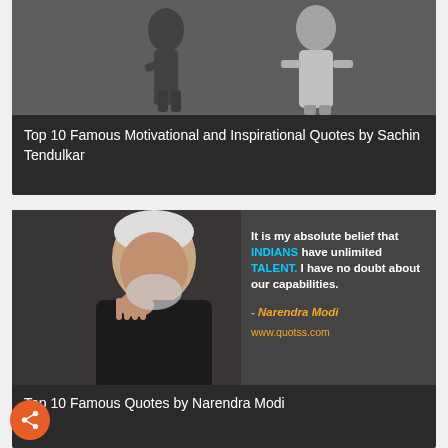[Figure (photo): Black and white photo of Sachin Tendulkar playing cricket, with another person on the right side in white shirt]
Top 10 Famous Motivational and Inspirational Quotes by Sachin Tendulkar
[Figure (infographic): Quote card with photo of Narendra Modi on a dark background with text: 'It is my absolute belief that INDIANS have unlimited TALENT. I have no doubt about our capabilities.' - Narendra Modi, www.quotss.com]
Top 10 Famous Quotes by Narendra Modi